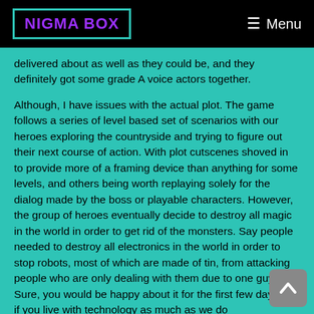NIGMA BOX | Menu
delivered about as well as they could be, and they definitely got some grade A voice actors together.
Although, I have issues with the actual plot. The game follows a series of level based set of scenarios with our heroes exploring the countryside and trying to figure out their next course of action. With plot cutscenes shoved in to provide more of a framing device than anything for some levels, and others being worth replaying solely for the dialog made by the boss or playable characters. However, the group of heroes eventually decide to destroy all magic in the world in order to get rid of the monsters. Say people needed to destroy all electronics in the world in order to stop robots, most of which are made of tin, from attacking people who are only dealing with them due to one guy. Sure, you would be happy about it for the first few days, but if you live with technology as much as we do